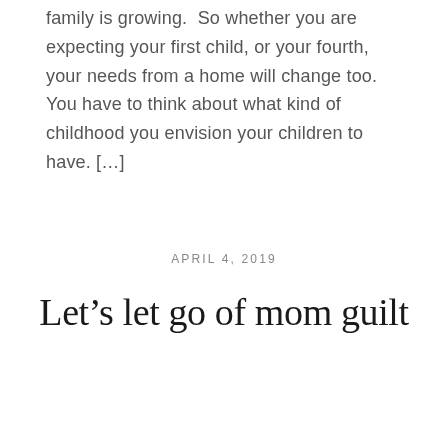family is growing.  So whether you are expecting your first child, or your fourth, your needs from a home will change too.  You have to think about what kind of childhood you envision your children to have. […]
APRIL 4, 2019
Let's let go of mom guilt